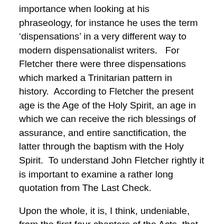importance when looking at his phraseology, for instance he uses the term ‘dispensations’ in a very different way to modern dispensationalist writers.   For Fletcher there were three dispensations which marked a Trinitarian pattern in history.  According to Fletcher the present age is the Age of the Holy Spirit, an age in which we can receive the rich blessings of assurance, and entire sanctification, the latter through the baptism with the Holy Spirit.  To understand John Fletcher rightly it is important to examine a rather long quotation from The Last Check.
Upon the whole, it is, I think, undeniable, from the first four chapters of the Acts, that a peculiar power of the Spirit is bestowed upon believers under the Gospel of Christ; that this power, through faith on our part, can operate the most sudden and surprising change in our souls; and that when